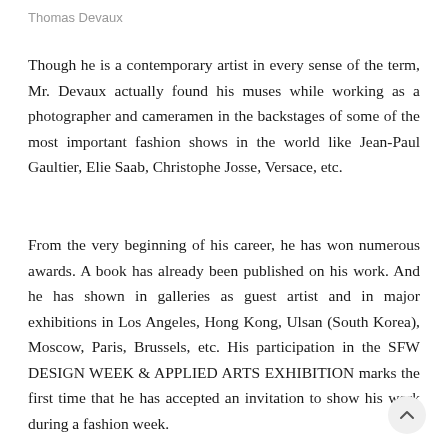Thomas Devaux
Though he is a contemporary artist in every sense of the term, Mr. Devaux actually found his muses while working as a photographer and cameramen in the backstages of some of the most important fashion shows in the world like Jean-Paul Gaultier, Elie Saab, Christophe Josse, Versace, etc.
From the very beginning of his career, he has won numerous awards. A book has already been published on his work. And he has shown in galleries as guest artist and in major exhibitions in Los Angeles, Hong Kong, Ulsan (South Korea), Moscow, Paris, Brussels, etc. His participation in the SFW DESIGN WEEK & APPLIED ARTS EXHIBITION marks the first time that he has accepted an invitation to show his work during a fashion week.